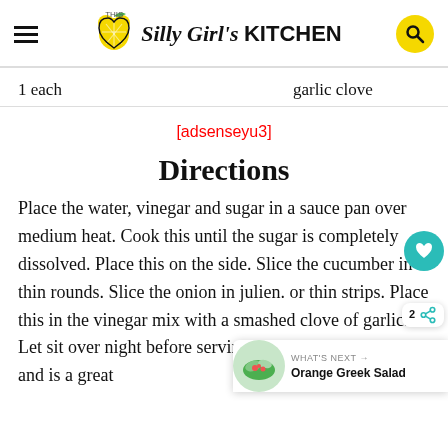This Silly Girl's KITCHEN
| Quantity | Ingredient |
| --- | --- |
| 1 each | garlic clove |
[adsenseyu3]
Directions
Place the water, vinegar and sugar in a sauce pan over medium heat. Cook this until the sugar is completely dissolved. Place this on the side. Slice the cucumber in thin rounds. Slice the onion in julien. or thin strips. Place this in the vinegar mi with a smashed clove of garlic. Let sit over night before serving. That's it! SUPER easy and is a great